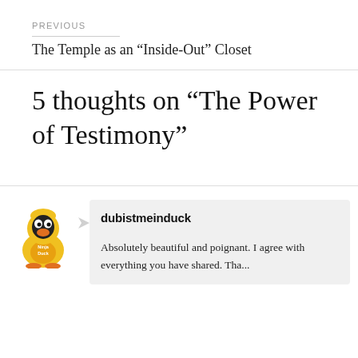PREVIOUS
The Temple as an “Inside-Out” Closet
5 thoughts on “The Power of Testimony”
[Figure (illustration): Cartoon avatar of a yellow penguin-like ninja duck character wearing a yellow costume with the text 'Ninja Duck' on it]
dubistmeinduck
Absolutely beautiful and poignant. I agree with everything you have shared. Tha...